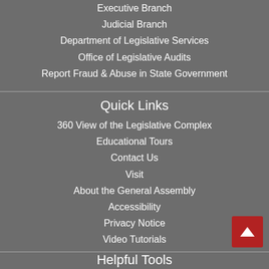Executive Branch
Judicial Branch
Department of Legislative Services
Office of Legislative Audits
Report Fraud & Abuse in State Government
Quick Links
360 View of the Legislative Complex
Educational Tours
Contact Us
Visit
About the General Assembly
Accessibility
Privacy Notice
Video Tutorials
Helpful Tools